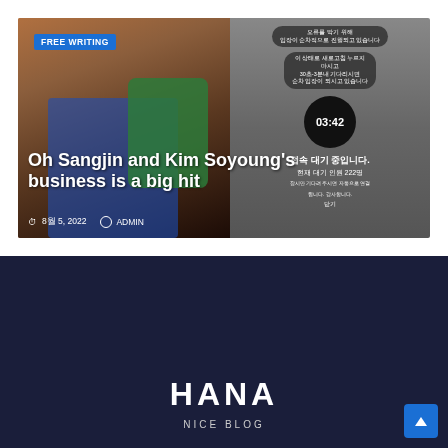[Figure (photo): Blog article card with photo of woman in blue floral dress holding green phone, and Korean screenshot showing queue/waiting screen with 03:42 timer]
Oh Sangjin and Kim Soyoung's business is a big hit
8월 5, 2022   ADMIN
FREE WRITING
HANA
NICE BLOG